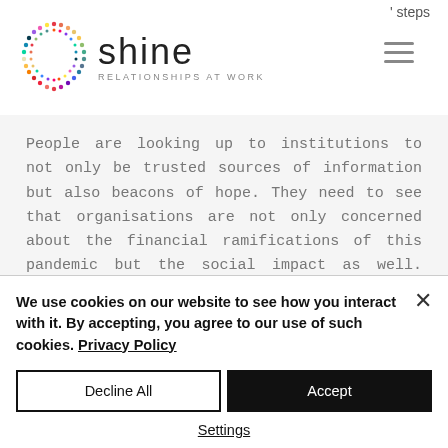' steps
[Figure (logo): Shine Relationships at Work logo with colorful dotted circle and text]
People are looking up to institutions to not only be trusted sources of information but also beacons of hope. They need to see that organisations are not only concerned about the financial ramifications of this pandemic but the social impact as well. Organisations
We use cookies on our website to see how you interact with it. By accepting, you agree to our use of such cookies. Privacy Policy
Decline All
Accept
Settings